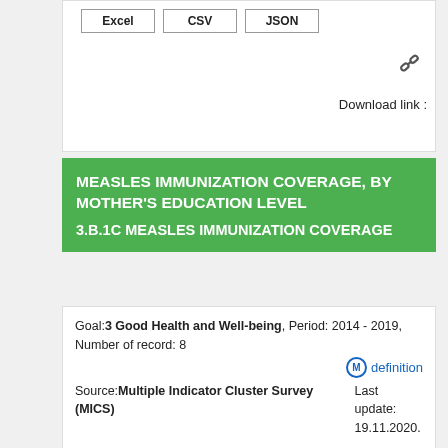Excel  CSV  JSON
Download link :
MEASLES IMMUNIZATION COVERAGE, BY MOTHER'S EDUCATION LEVEL
3.B.1C MEASLES IMMUNIZATION COVERAGE
Goal: 3 Good Health and Well-being , Period: 2014 - 2019, Number of record: 8
Mdefinition
Source: Multiple Indicator Cluster Survey (MICS)  Last update: 19.11.2020.
Download:
Excel  CSV  JSON
Download link :